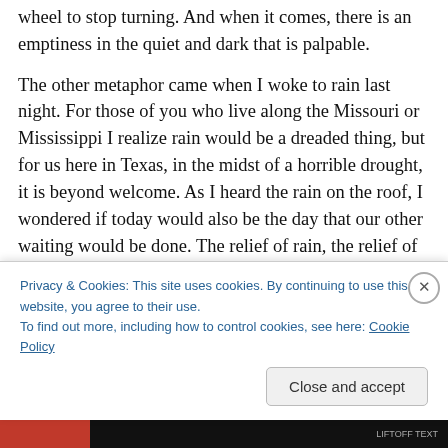wheel to stop turning. And when it comes, there is an emptiness in the quiet and dark that is palpable.
The other metaphor came when I woke to rain last night. For those of you who live along the Missouri or Mississippi I realize rain would be a dreaded thing, but for us here in Texas, in the midst of a horrible drought, it is beyond welcome. As I heard the rain on the roof, I wondered if today would also be the day that our other waiting would be done. The relief of rain, the relief of heaven paralleled in my mind and I prayed once again for God to rescue our
Privacy & Cookies: This site uses cookies. By continuing to use this website, you agree to their use.
To find out more, including how to control cookies, see here: Cookie Policy
Close and accept